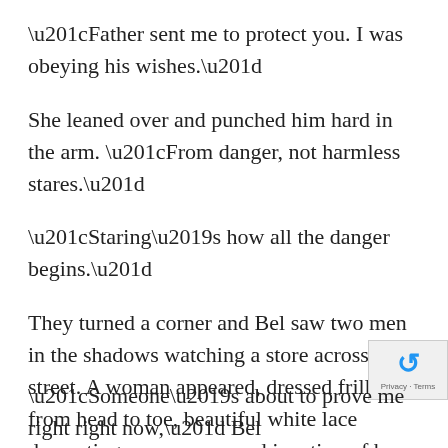“Father sent me to protect you. I was obeying his wishes.”
She leaned over and punched him hard in the arm. “From danger, not harmless stares.”
“Staring’s how all the danger begins.”
They turned a corner and Bel saw two men in the shadows watching a store across the street. A woman appeared, dressed frilly from head to toe, beautiful white lace decorating every curve and junction of her very expensive dress and hat. She carried a large bag draped over one arm as she hurried across the street toward an alley near where the men were waiting
“Someone’s about to prove me right right now,” Bel